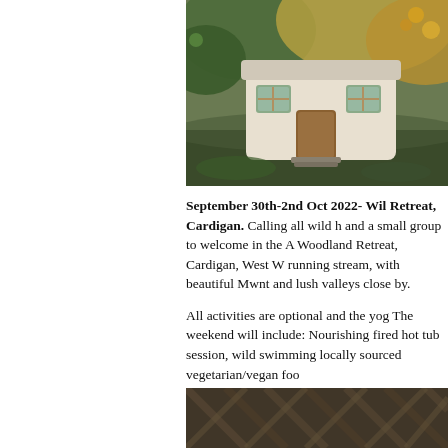[Figure (photo): A small white rendered stone cabin or woodland retreat building with wooden door and windows, surrounded by autumn trees with orange/yellow foliage and green moss-covered ground.]
September 30th-2nd Oct 2022- Wil Retreat, Cardigan. Calling all wild h and a small group to welcome in the A Woodland Retreat, Cardigan, West W running stream, with beautiful Mwnt and lush valleys close by.

All activities are optional and the yog The weekend will include: Nourishing fired hot tub session, wild swimming locally sourced vegetarian/vegan foo
[Figure (photo): A partial view of what appears to be a woven or thatched structure, possibly a dome or woodland shelter, photographed from below looking up through branches.]